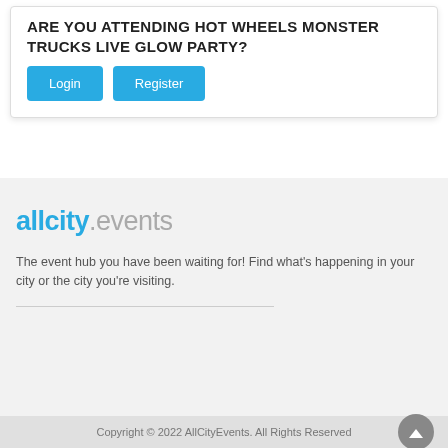ARE YOU ATTENDING HOT WHEELS MONSTER TRUCKS LIVE GLOW PARTY?
Login
Register
[Figure (logo): allcity.events logo — 'allcity' in bold cyan text, '.events' in light gray]
The event hub you have been waiting for! Find what's happening in your city or the city you're visiting.
Copyright © 2022 AllCityEvents. All Rights Reserved